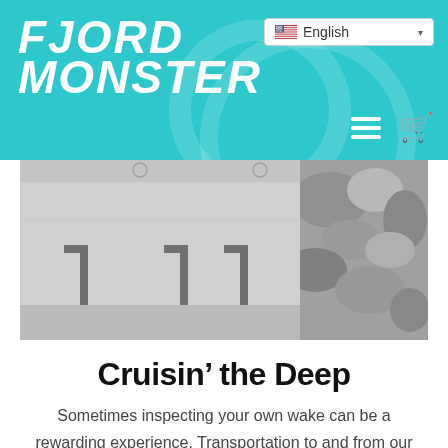FJORD MONSTER — English
[Figure (photo): Black and white photo of a concrete structure with metal brackets/shelves against a rock wall background]
Cruisin’ the Deep
Sometimes inspecting your own wake can be a rewarding experience. Transportation to and from our research site plays a large part in the budgeting. The logistics of moving our team to and from creates many difficulties which must be hurdled to achieve our goals. However, yesterday while moving from our Advanced Base Camp, our team […]